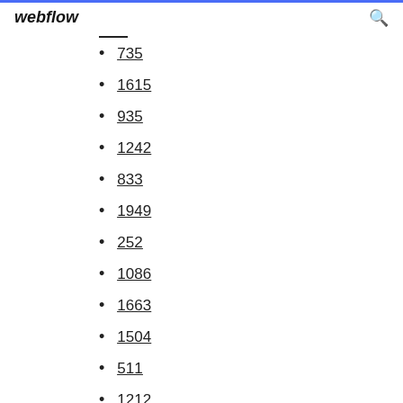webflow
735
1615
935
1242
833
1949
252
1086
1663
1504
511
1212